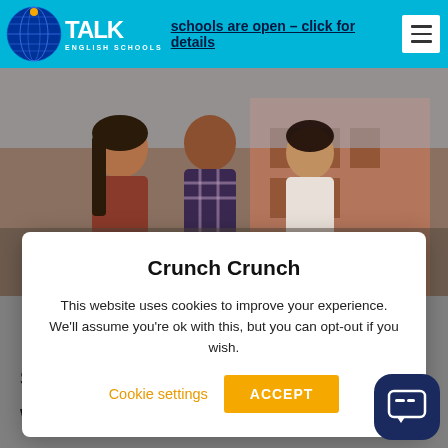schools are open – click for details
[Figure (photo): Group of smiling students outdoors near a brick building]
Crunch Crunch
This website uses cookies to improve your experience. We'll assume you're ok with this, but you can opt-out if you wish.
Cookie settings   ACCEPT
Schools Testimonials
What Students say about TAL